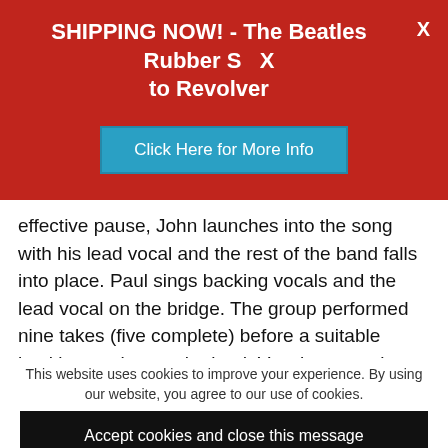SHIPPING NOW! - The Beatles Rubber S… to Revolver
[Figure (other): Red promotional banner with CTA button 'Click Here for More Info' in teal/blue]
effective pause, John launches into the song with his lead vocal and the rest of the band falls into place. Paul sings backing vocals and the lead vocal on the bridge. The group performed nine takes (five complete) before a suitable backing track was obtained. Vocals, acoustic guitar, bongos,
This website uses cookies to improve your experience. By using our website, you agree to our use of cookies.
Accept cookies and close this message
Privacy Policy